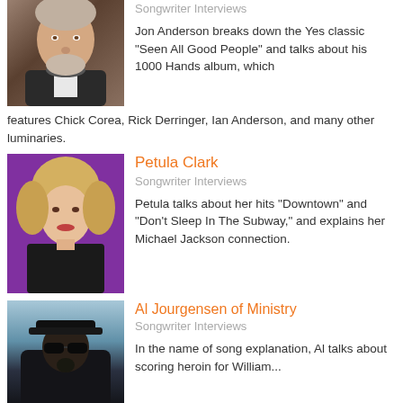[Figure (photo): Portrait of Jon Anderson, older man with gray hair and beard, dark jacket with scarf, brownish background]
Songwriter Interviews
Jon Anderson breaks down the Yes classic "Seen All Good People" and talks about his 1000 Hands album, which features Chick Corea, Rick Derringer, Ian Anderson, and many other luminaries.
Petula Clark
Songwriter Interviews
[Figure (photo): Portrait of Petula Clark, blonde hair, purple background, black top, smiling]
Petula talks about her hits "Downtown" and "Don't Sleep In The Subway," and explains her Michael Jackson connection.
Al Jourgensen of Ministry
Songwriter Interviews
[Figure (photo): Portrait of Al Jourgensen, dark figure with sunglasses and hat, snowy/icy blue-gray background]
In the name of song explanation, Al talks about scoring heroin for William...